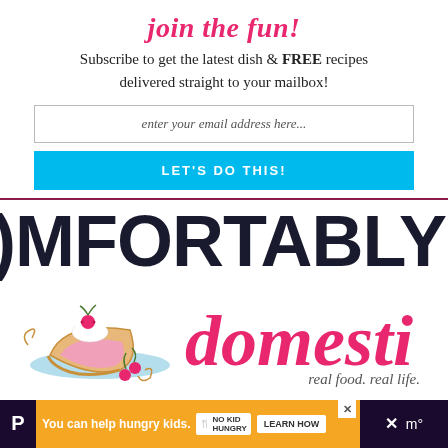join the fun!
Subscribe to get the latest dish & FREE recipes delivered straight to your mailbox!
enter your email address here...
LET'S DO THIS!
[Figure (logo): Comfortably Domestic logo — partial text showing 'OMFORTABLY' in bold dark sans-serif, 'domesti' in pink italic script, pie slice illustration, tagline 'real food. real life.']
[Figure (infographic): Orange advertisement bar: 'You can help hungry kids.' with No Kid Hungry badge and LEARN HOW button]